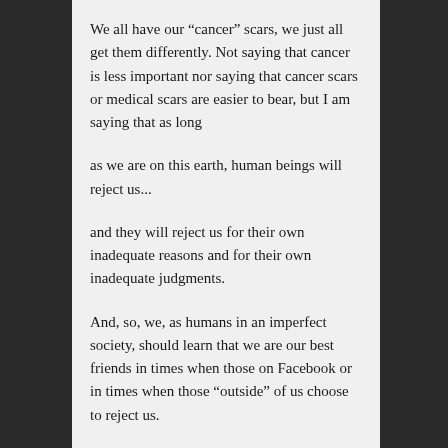We all have our “cancer” scars, we just all get them differently. Not saying that cancer is less important nor saying that cancer scars or medical scars are easier to bear, but I am saying that as long
as we are on this earth, human beings will reject us...
and they will reject us for their own inadequate reasons and for their own inadequate judgments.
And, so, we, as humans in an imperfect society, should learn that we are our best friends in times when those on Facebook or in times when those “outside” of us choose to reject us.
I never judge my circle by whom is on any friends list on any social network. Inside of me, deep inside of me, I know who my true